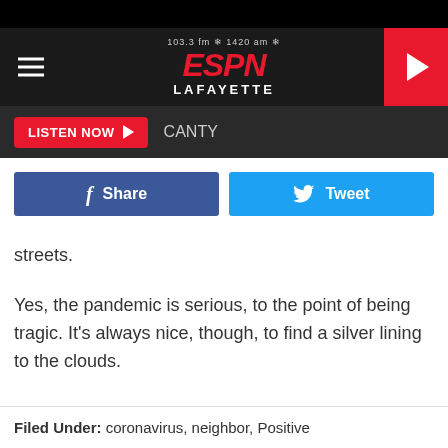[Figure (screenshot): ESPN Lafayette radio station header with logo showing 103.3 fm and 1420 am, hamburger menu icon on left, red play button on right]
[Figure (screenshot): Listen Now button in red with play arrow, followed by text CANTY on dark background]
[Figure (screenshot): Facebook Share button (blue) and Twitter Tweet button (cyan) side by side]
streets.
Yes, the pandemic is serious, to the point of being tragic. It's always nice, though, to find a silver lining to the clouds.
Filed Under: coronavirus, neighbor, Positive